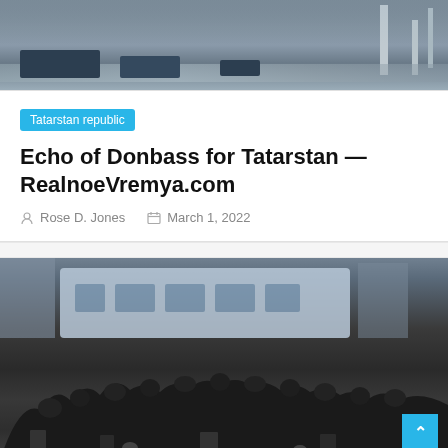[Figure (photo): Military vehicles and equipment on a runway or tarmac, with large crane-like structures in the background.]
Tatarstan republic
Echo of Donbass for Tatarstan — RealnoeVremya.com
Rose D. Jones   March 1, 2022
[Figure (photo): A large crowd of civilians with luggage gathered in front of a blue-and-white bus in a grey urban setting, appearing to be evacuees.]